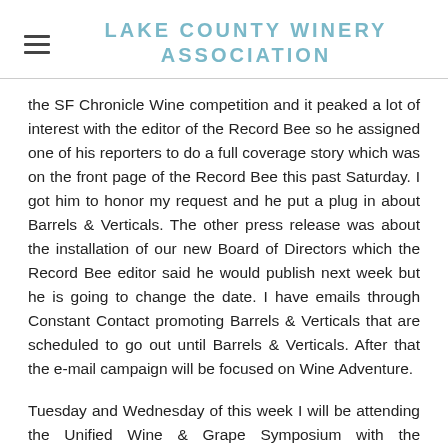LAKE COUNTY WINERY ASSOCIATION
the SF Chronicle Wine competition and it peaked a lot of interest with the editor of the Record Bee so he assigned one of his reporters to do a full coverage story which was on the front page of the Record Bee this past Saturday. I got him to honor my request and he put a plug in about Barrels & Verticals. The other press release was about the installation of our new Board of Directors which the Record Bee editor said he would publish next week but he is going to change the date. I have emails through Constant Contact promoting Barrels & Verticals that are scheduled to go out until Barrels & Verticals. After that the e-mail campaign will be focused on Wine Adventure.
Tuesday and Wednesday of this week I will be attending the Unified Wine & Grape Symposium with the Winegrape Commission and will be promoting